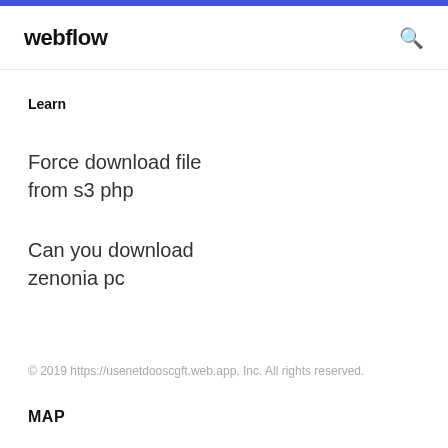webflow
Learn
Force download file from s3 php
Can you download zenonia pc
© 2019 https://usenetdooscgft.web.app, Inc. All rights reserved.
MAP